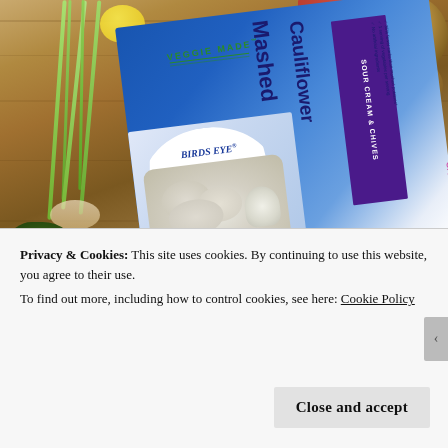[Figure (photo): Photograph of a Birds Eye Veggie Made Mashed Cauliflower Sour Cream & Chives frozen food box on a wooden cutting board surrounded by green onions, fresh herbs, lemon, and an onion.]
Privacy & Cookies: This site uses cookies. By continuing to use this website, you agree to their use.
To find out more, including how to control cookies, see here: Cookie Policy
Close and accept